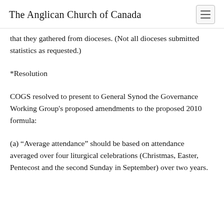The Anglican Church of Canada
that they gathered from dioceses. (Not all dioceses submitted statistics as requested.)
*Resolution
COGS resolved to present to General Synod the Governance Working Group’s proposed amendments to the proposed 2010 formula:
(a) “Average attendance” should be based on attendance averaged over four liturgical celebrations (Christmas, Easter, Pentecost and the second Sunday in September) over two years.